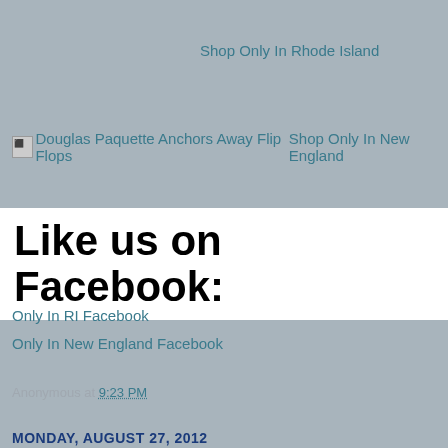Shop Only In Rhode Island
[Figure (other): Broken image icon followed by link text: Douglas Paquette Anchors Away Flip FlopsShop Only In New England]
Like us on Facebook:
Only In RI Facebook
Only In New England Facebook
Anonymous at 9:23 PM
Share
MONDAY, AUGUST 27, 2012